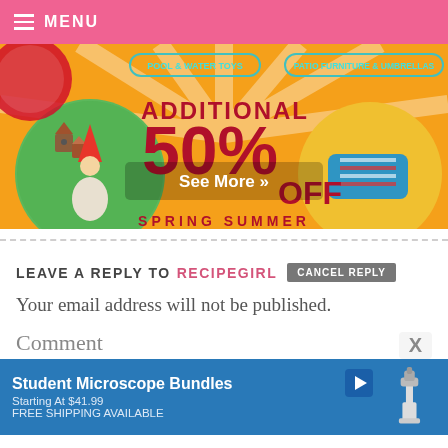MENU
[Figure (photo): Promotional banner showing 'ADDITIONAL 50% OFF SPRING SUMMER' sale with pool & water toys and patio furniture & umbrellas categories. Features garden gnome, birdhouses, and beach items illustrations on orange background. 'See More »' button overlay.]
LEAVE A REPLY TO RECIPEGIRL  CANCEL REPLY
Your email address will not be published.
Comment
[Figure (screenshot): Ad banner for Student Microscope Bundles starting at $41.99 with free shipping available. Blue background with microscope image.]